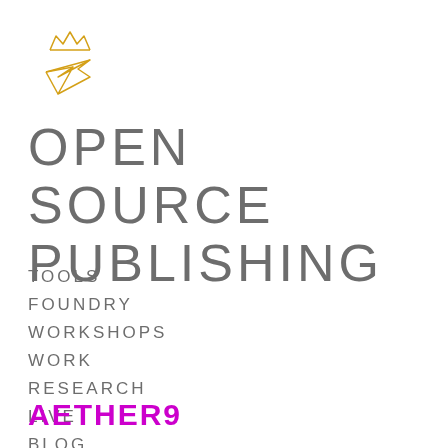[Figure (logo): Crown and origami bird logo outline in golden/amber color, thin stroke style]
OPEN SOURCE PUBLISHING
TOOLS
FOUNDRY
WORKSHOPS
WORK
RESEARCH
LIVE
BLOG
INFO
AETHER9